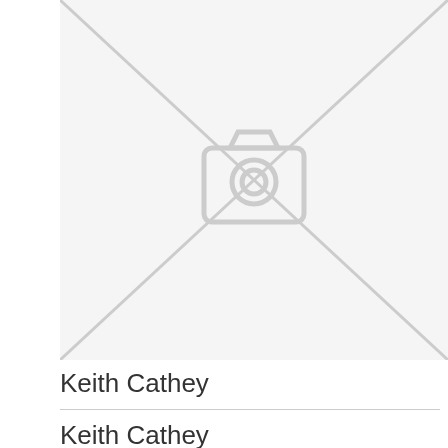[Figure (photo): Placeholder image with X diagonal lines and a camera icon in the center, indicating no photo available]
Keith Cathey
Keith Cathey